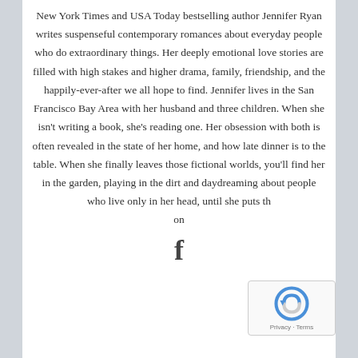New York Times and USA Today bestselling author Jennifer Ryan writes suspenseful contemporary romances about everyday people who do extraordinary things. Her deeply emotional love stories are filled with high stakes and higher drama, family, friendship, and the happily-ever-after we all hope to find. Jennifer lives in the San Francisco Bay Area with her husband and three children. When she isn't writing a book, she's reading one. Her obsession with both is often revealed in the state of her home, and how late dinner is to the table. When she finally leaves those fictional worlds, you'll find her in the garden, playing in the dirt and daydreaming about people who live only in her head, until she puts th on
[Figure (illustration): Facebook icon (letter f) at the bottom center of the page]